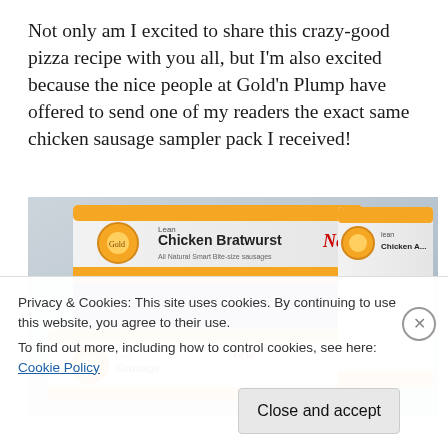Not only am I excited to share this crazy-good pizza recipe with you all, but I'm also excited because the nice people at Gold'n Plump have offered to send one of my readers the exact same chicken sausage sampler pack I received!
[Figure (photo): Photo of Gold'n Plump Lean Chicken Bratwurst and other chicken sausage packages, labeled 'New', displayed on a light gray background]
Privacy & Cookies: This site uses cookies. By continuing to use this website, you agree to their use.
To find out more, including how to control cookies, see here: Cookie Policy